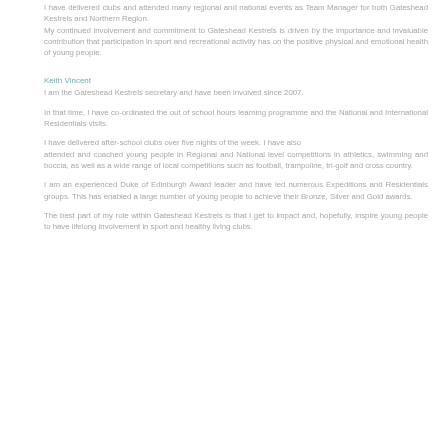I have delivered clubs and attended many regional and national events as Team Manager for both Gateshead Kestrels and Northern Region.
My continued involvement and commitment to Gateshead Kestrels is driven by the importance and invaluable contribution that participation in sport and recreational activity has on the positive physical and emotional health of young people.
Keith Vincent
I am the Gateshead Kestrels secretary and have been involved since 2007.
In that time, I have co-ordinated the out of school hours learning programme and the National and International Residentials visits.
I have delivered after-school clubs over five nights of the week. I have also attended and coached young people in Regional and National level competitions in athletics, swimming and boccia, as well as a wide range of local competitions such as football, trampoline, tri-golf and cross country.
I am an experienced Duke of Edinburgh Award leader and have led numerous Expeditions and Residentials groups. This has enabled a large number of young people to achieve their Bronze, Silver and Gold awards.
The best part of my role within Gateshead Kestrels is that I get to impact and, hopefully, inspire young people to have lifelong involvement in sport and healthy living clubs.